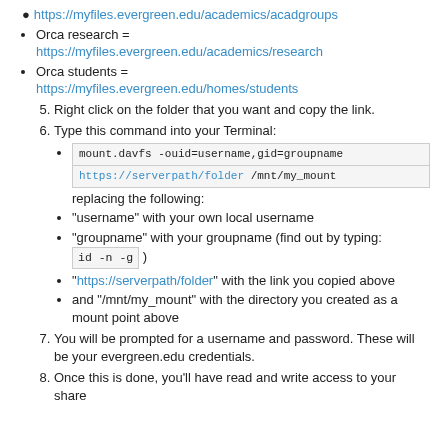Orca research = https://myfiles.evergreen.edu/academics/research
Orca students = https://myfiles.evergreen.edu/homes/students
Right click on the folder that you want and copy the link.
Type this command into your Terminal:
mount.davfs -ouid=username,gid=groupname https://serverpath/folder /mnt/my_mount replacing the following:
"username" with your own local username
"groupname" with your groupname (find out by typing: id -n -g )
"https://serverpath/folder" with the link you copied above
and "/mnt/my_mount" with the directory you created as a mount point above
You will be prompted for a username and password. These will be your evergreen.edu credentials.
Once this is done, you'll have read and write access to your share